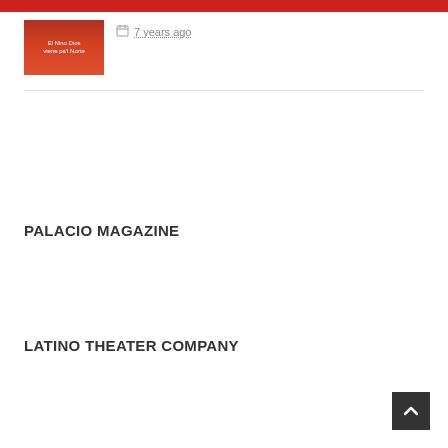[Figure (photo): Thumbnail image with red/orange background showing text 'El Nino Dios viene pa'l Norte']
7 years ago
PALACIO MAGAZINE
LATINO THEATER COMPANY